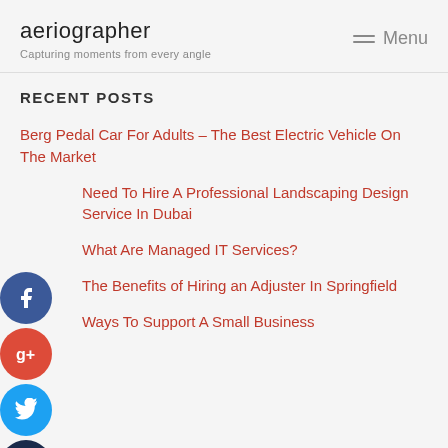aeriographer
Capturing moments from every angle
RECENT POSTS
Berg Pedal Car For Adults – The Best Electric Vehicle On The Market
Need To Hire A Professional Landscaping Design Service In Dubai
What Are Managed IT Services?
The Benefits of Hiring an Adjuster In Springfield
Ways To Support A Small Business